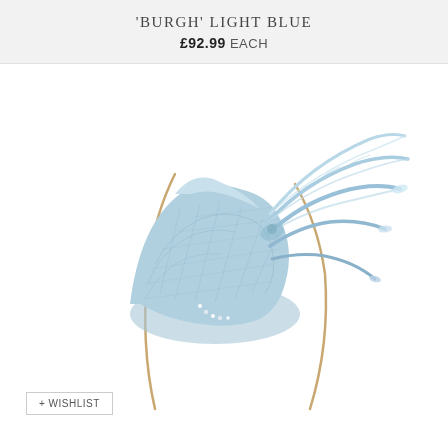'BURGH' LIGHT BLUE
£92.99 EACH
[Figure (photo): A light blue sinamay fascinator hat with feather trim and gold headband, decorated with rhinestone detail.]
+ WISHLIST